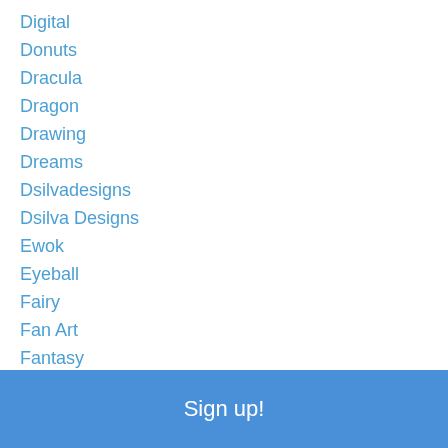Digital
Donuts
Dracula
Dragon
Drawing
Dreams
Dsilvadesigns
Dsilva Designs
Ewok
Eyeball
Fairy
Fan Art
Fantasy
Fawn
Fire
Ghostrider
Girl
Girls
Sign up!